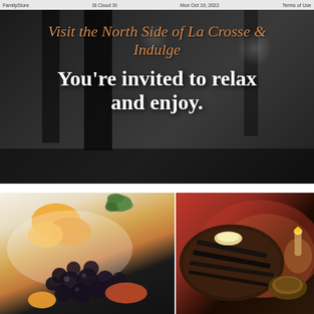FamilyStore   St Cloud St   Mon Oct 19, 2022   Terms of Use
[Figure (photo): Dark interior restaurant scene as background with columns and hanging lamps]
Visit the North Side of La Crosse & Indulge
You're invited to relax and enjoy.
[Figure (photo): Close-up food photo of a gourmet dish with black caviar/blueberries, citrus fruit pieces on a white plate]
[Figure (photo): Close-up food photo of grilled meat/steak with grill marks, butter pat on top, and a small dipping sauce bowl, against a red/dark background]